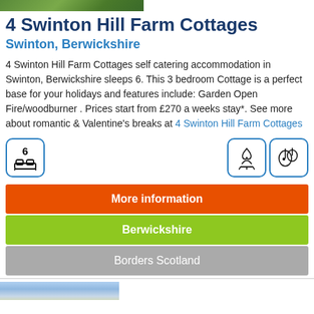[Figure (photo): Top image of cottage or farm landscape, green foliage]
4 Swinton Hill Farm Cottages
Swinton, Berwickshire
4 Swinton Hill Farm Cottages self catering accommodation in Swinton, Berwickshire sleeps 6. This 3 bedroom Cottage is a perfect base for your holidays and features include: Garden Open Fire/woodburner . Prices start from £270 a weeks stay*. See more about romantic & Valentine's breaks at 4 Swinton Hill Farm Cottages
[Figure (infographic): Icons row: sleeps 6 bed icon, campfire icon, mushroom icon]
More information
Berwickshire
Borders Scotland
[Figure (photo): Bottom photo showing sky with clouds]